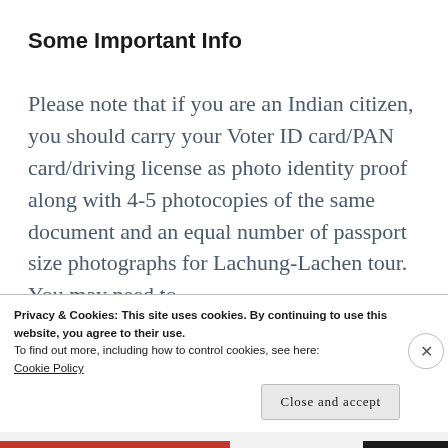Some Important Info
Please note that if you are an Indian citizen, you should carry your Voter ID card/PAN card/driving license as photo identity proof along with 4-5 photocopies of the same document and an equal number of passport size photographs for Lachung-Lachen tour. You may need to
Privacy & Cookies: This site uses cookies. By continuing to use this website, you agree to their use.
To find out more, including how to control cookies, see here:
Cookie Policy
Close and accept